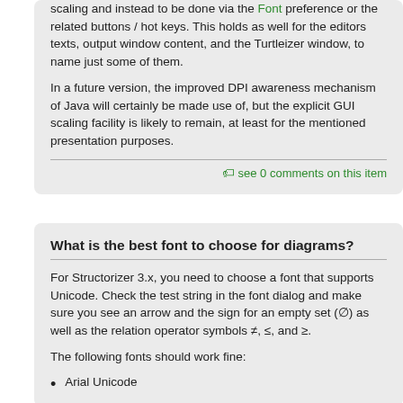scaling and instead to be done via the Font preference or the related buttons / hot keys. This holds as well for the editors texts, output window content, and the Turtleizer window, to name just some of them.
In a future version, the improved DPI awareness mechanism of Java will certainly be made use of, but the explicit GUI scaling facility is likely to remain, at least for the mentioned presentation purposes.
🏷 see 0 comments on this item
What is the best font to choose for diagrams?
For Structorizer 3.x, you need to choose a font that supports Unicode. Check the test string in the font dialog and make sure you see an arrow and the sign for an empty set (∅) as well as the relation operator symbols ≠, ≤, and ≥.
The following fonts should work fine:
Arial Unicode